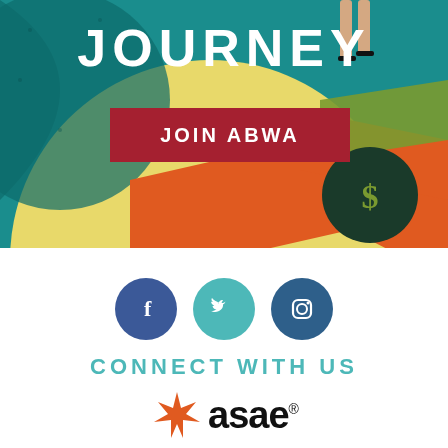[Figure (illustration): Colorful illustrated banner with teal, yellow, orange, green, and red abstract shapes suggesting a journey theme. A woman's legs in heels visible at top right. A dollar sign globe visible at center right. Text 'JOURNEY' in white at top center. Red button with 'JOIN ABWA' in white.]
JOURNEY
JOIN ABWA
[Figure (illustration): Three social media icons: Facebook (blue circle with f), Twitter (teal circle with bird), Instagram (dark blue circle with camera outline)]
CONNECT WITH US
[Figure (logo): ASAE logo with orange star on left and black bold text 'asae' with registered trademark symbol]